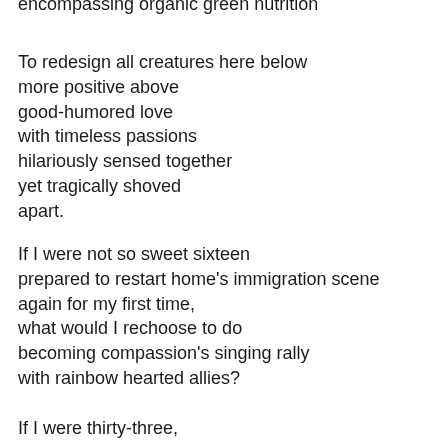encompassing organic green nutrition
To redesign all creatures here below
more positive above
good-humored love
with timeless passions
hilariously sensed together
yet tragically shoved
apart.
If I were not so sweet sixteen
prepared to restart home's immigration scene
again for my first time,
what would I rechoose to do
becoming compassion's singing rally
with rainbow hearted allies?
If I were thirty-three,